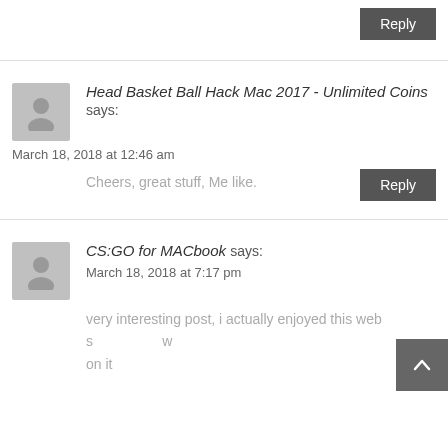Reply (button, top area)
Head Basket Ball Hack Mac 2017 - Unlimited Coins says:
March 18, 2018 at 12:46 am
Cheers, great stuff, Me like.
Reply
CS:GO for MACbook says:
March 18, 2018 at 7:17 pm
very interesting post, i actually enjoyed this web s on it